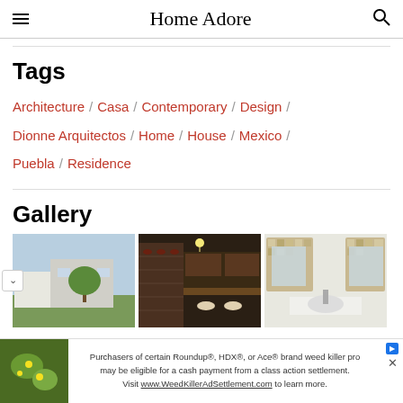Home Adore
Tags
Architecture / Casa / Contemporary / Design / Dionne Arquitectos / Home / House / Mexico / Puebla / Residence
Gallery
[Figure (photo): Gallery thumbnail 1: exterior view of modern house at dusk with tree]
[Figure (photo): Gallery thumbnail 2: interior wine cellar and kitchen area with dark wood]
[Figure (photo): Gallery thumbnail 3: bathroom with mosaic mirror and white sink]
Purchasers of certain Roundup®, HDX®, or Ace® brand weed killer products may be eligible for a cash payment from a class action settlement. Visit www.WeedKillerAdSettlement.com to learn more.